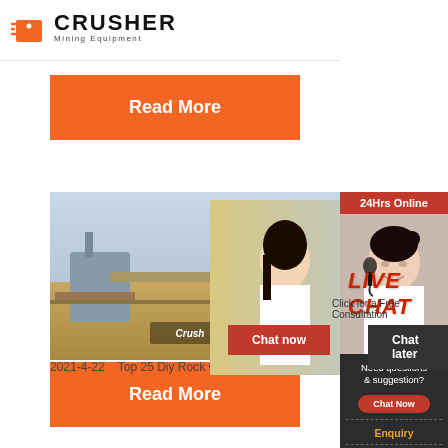[Figure (logo): Crusher Mining Equipment logo with orange shopping bag icon and bold CRUSHER text]
Read More
[Figure (photo): Mining site background with equipment, overlaid with live chat popup showing workers in hard hats, LIVE CHAT heading, Click for a Free Consultation text, Chat now and Chat later buttons]
LIVE CHAT
Click for a Free Consultation
Chat now
Chat later
[Figure (photo): Right sidebar with 24Hrs Online banner, female consultant with headset photo, Need questions & suggestion text, Chat Now button, Enquiry section, limingjlmofen@sina.com email]
24Hrs Online
Need questions & suggestion?
Chat Now
Enquiry
limingjlmofen@sina.com
2021-4-22    Top 25 Diy Rock Crusher Plans Ho
Read More